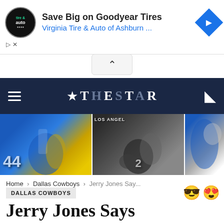[Figure (screenshot): Advertisement banner for Virginia Tire & Auto of Ashburn featuring Goodyear Tires promotion with logo, headline, and blue diamond navigation icon]
[Figure (screenshot): Navigation bar with hamburger menu, THE STAR logo with star icon, and moon/dark mode icon on dark navy background]
[Figure (screenshot): Three football game photos in a horizontal strip showing NFL players in action]
Home › Dallas Cowboys › Jerry Jones Say...
DALLAS COWBOYS
Jerry Jones Says "Systems Are On Go" for